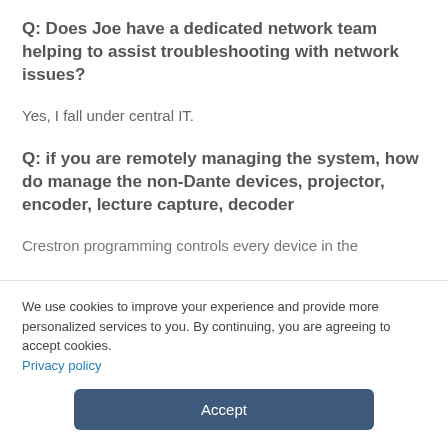Q: Does Joe have a dedicated network team helping to assist troubleshooting with network issues?
Yes, I fall under central IT.
Q: if you are remotely managing the system, how do manage the non-Dante devices, projector, encoder, lecture capture, decoder
Crestron programming controls every device in the
We use cookies to improve your experience and provide more personalized services to you. By continuing, you are agreeing to accept cookies. Privacy policy
Accept